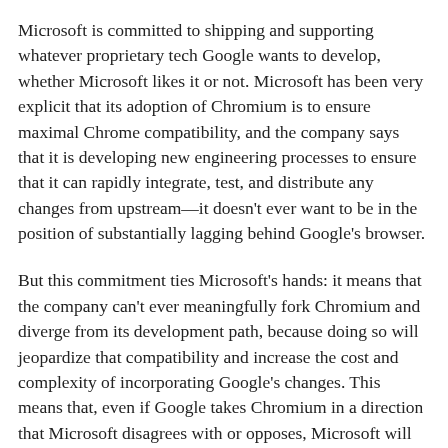Microsoft is committed to shipping and supporting whatever proprietary tech Google wants to develop, whether Microsoft likes it or not. Microsoft has been very explicit that its adoption of Chromium is to ensure maximal Chrome compatibility, and the company says that it is developing new engineering processes to ensure that it can rapidly integrate, test, and distribute any changes from upstream—it doesn't ever want to be in the position of substantially lagging behind Google's browser.
But this commitment ties Microsoft's hands: it means that the company can't ever meaningfully fork Chromium and diverge from its development path, because doing so will jeopardize that compatibility and increase the cost and complexity of incorporating Google's changes. This means that, even if Google takes Chromium in a direction that Microsoft disagrees with or opposes, Microsoft will have little option but to follow along regardless.